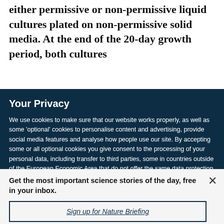either permissive or non-permissive liquid cultures plated on non-permissive solid media. At the end of the 20-day growth period, both cultures
Your Privacy
We use cookies to make sure that our website works properly, as well as some 'optional' cookies to personalise content and advertising, provide social media features and analyse how people use our site. By accepting some or all optional cookies you give consent to the processing of your personal data, including transfer to third parties, some in countries outside of the European Economic Area that do not offer the same data protection standards as the country where you live. You can decide which optional cookies to accept by clicking on 'Manage Settings', where you can
Get the most important science stories of the day, free in your inbox.
Sign up for Nature Briefing